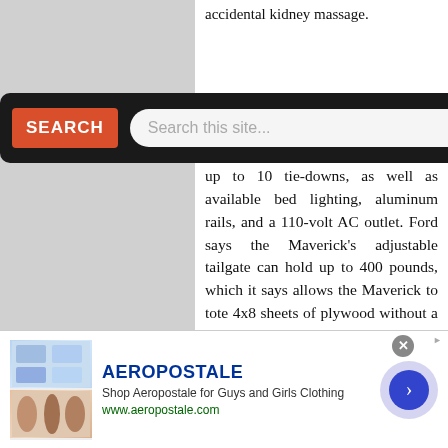accidental kidney massage.
[Figure (screenshot): Search bar overlay with red SEARCH button and input field reading 'Search this site...' on dark background]
-inch pickup s 42.6 inches between the wheel wells. It has dual covered bins and up to 10 tie-downs, as well as available bed lighting, aluminum rails, and a 110-volt AC outlet. Ford says the Maverick’s adjustable tailgate can hold up to 400 pounds, which it says allows the Maverick to tote 4x8 sheets of plywood without a bed extender. The bed can be covered, fitted with cut wood partitions, rigged with a fitted tool box, or left unlined in an homage to ‘70s beater 4-cylinder trucks still on the road today. Patina’s
[Figure (screenshot): Aeropostale advertisement banner with logo, text 'Shop Aeropostale for Guys and Girls Clothing', URL www.aeropostale.com, clothing images, and navigation arrow button]